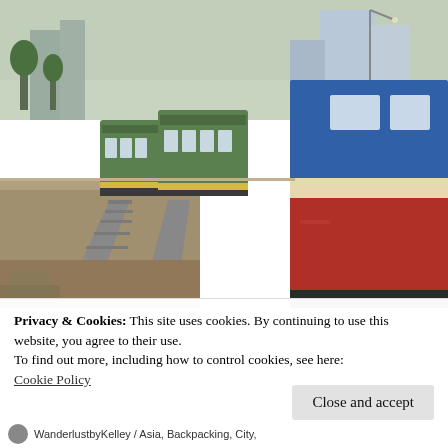[Figure (photo): A train station scene showing colorful train carriages — green cars and a blue/red/cream car in the foreground — on railway tracks. A concrete platform runs alongside. City buildings and a street lamp are visible in the background under an overcast sky.]
Privacy & Cookies: This site uses cookies. By continuing to use this website, you agree to their use.
To find out more, including how to control cookies, see here:
Cookie Policy
Close and accept
WanderlustbyKelley / Asia, Backpacking, City,